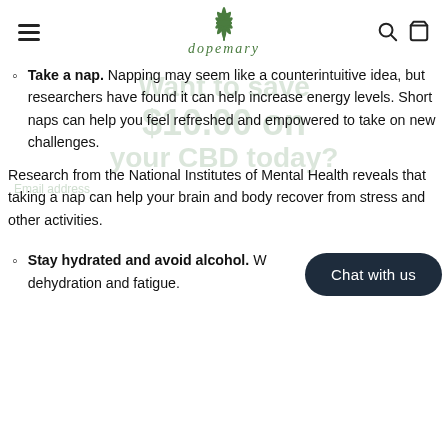dopemary (logo with cannabis leaf icon, search and cart icons)
Take a nap. Napping may seem like a counterintuitive idea, but researchers have found it can help increase energy levels. Short naps can help you feel refreshed and empowered to take on new challenges.
Research from the National Institutes of Mental Health reveals that taking a nap can help your brain and body recover from stress and other activities.
Stay hydrated and avoid alcohol. [water] you prevent dehydration and fatigue.